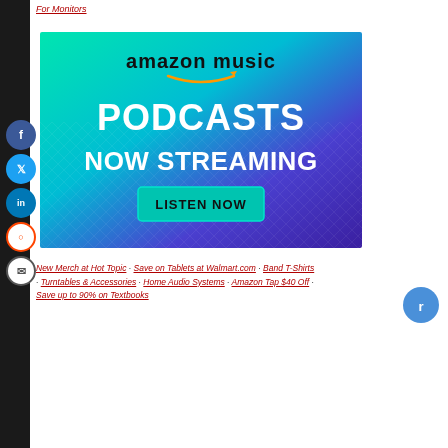For Monitors
[Figure (screenshot): Amazon Music advertisement banner: green-to-purple gradient background with 'amazon music' logo at top, large bold white text reading 'PODCASTS NOW STREAMING', and a teal 'LISTEN NOW' button.]
New Merch at Hot Topic · Save on Tablets at Walmart.com · Band T-Shirts · Turntables & Accessories · Home Audio Systems · Amazon Tap $40 Off · Save up to 90% on Textbooks